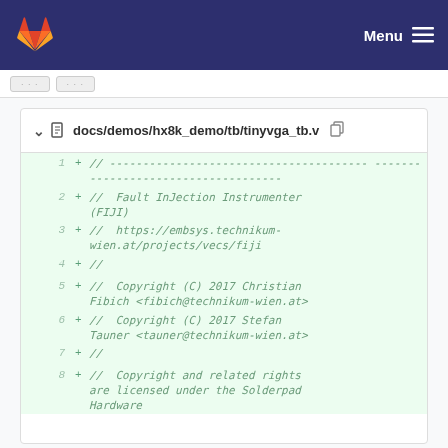Menu
[Figure (screenshot): GitLab diff view showing docs/demos/hx8k_demo/tb/tinyvga_tb.v with added lines including a comment header separator, Fault InJection Instrumenter (FIJI) title, project URL, blank comment, copyright notices for Christian Fibich and Stefan Tauner (2017), and a Solderpad Hardware License notice.]
docs/demos/hx8k_demo/tb/tinyvga_tb.v
1  + // -------------------------------------------------------------------
2  + //  Fault InJection Instrumenter (FIJI)
3  + //  https://embsys.technikum-wien.at/projects/vecs/fiji
4  + //
5  + //  Copyright (C) 2017 Christian Fibich <fibich@technikum-wien.at>
6  + //  Copyright (C) 2017 Stefan Tauner <tauner@technikum-wien.at>
7  + //
8  + //  Copyright and related rights are licensed under the Solderpad Hardware